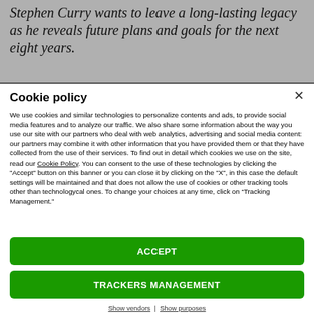Stephen Curry wants to leave a long-lasting legacy as he reveals future plans and goals for the next eight years.
Cookie policy
We use cookies and similar technologies to personalize contents and ads, to provide social media features and to analyze our traffic. We also share some information about the way you use our site with our partners who deal with web analytics, advertising and social media content: our partners may combine it with other information that you have provided them or that they have collected from the use of their services. To find out in detail which cookies we use on the site, read our Cookie Policy. You can consent to the use of these technologies by clicking the "Accept" button on this banner or you can close it by clicking on the "X", in this case the default settings will be maintained and that does not allow the use of cookies or other tracking tools other than technologycal ones. To change your choices at any time, click on “Tracking Management.”
ACCEPT
TRACKERS MANAGEMENT
Show vendors | Show purposes